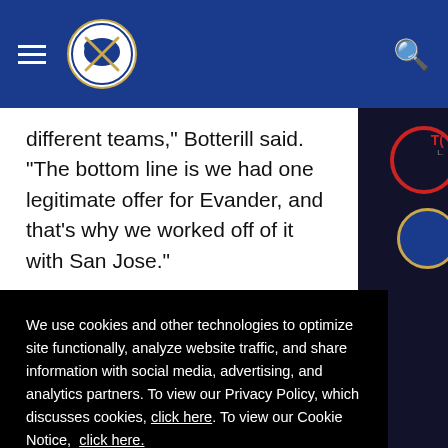Buffalo Sabres website header with hamburger menu, logo, and search icon
different teams," Botterill said. "The bottom line is we had one legitimate offer for Evander, and that's why we worked off of it with San Jose."
We use cookies and other technologies to optimize site functionally, analyze website traffic, and share information with social media, advertising, and analytics partners. To view our Privacy Policy, which discusses cookies, click here. To view our Cookie Notice, click here.
ACCEPT
13:31 • February 27, 2018